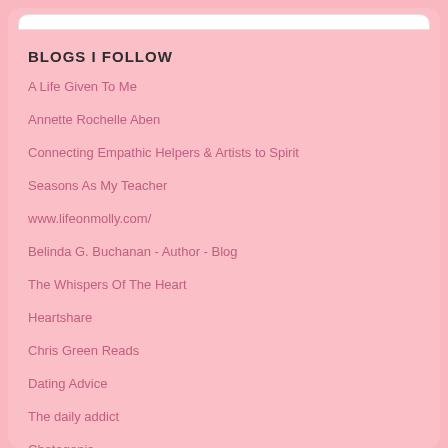BLOGS I FOLLOW
A Life Given To Me
Annette Rochelle Aben
Connecting Empathic Helpers & Artists to Spirit
Seasons As My Teacher
www.lifeonmolly.com/
Belinda G. Buchanan - Author - Blog
The Whispers Of The Heart
Heartshare
Chris Green Reads
Dating Advice
The daily addict
Chetogenic
Deborah Klee